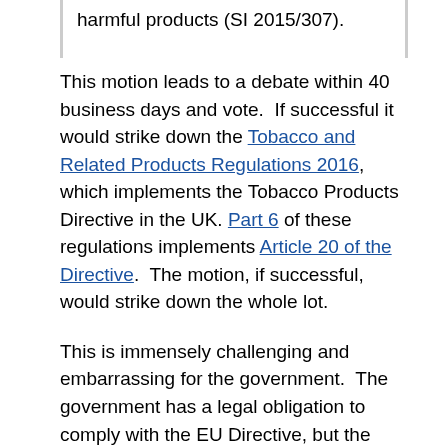harmful products (SI 2015/307).
This motion leads to a debate within 40 business days and vote.  If successful it would strike down the Tobacco and Related Products Regulations 2016, which implements the Tobacco Products Directive in the UK. Part 6 of these regulations implements Article 20 of the Directive.  The motion, if successful, would strike down the whole lot.
This is immensely challenging and embarrassing for the government.  The government has a legal obligation to comply with the EU Directive, but the motion and debate highlights how weak and unaccountable the decision-making in Brussels is, and how powerless (on paper at least) the Westminister parliament is to do anything about